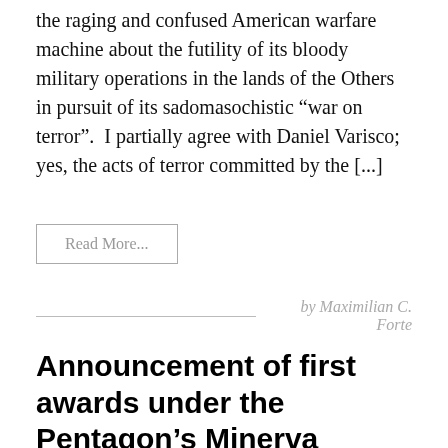the raging and confused American warfare machine about the futility of its bloody military operations in the lands of the Others in pursuit of its sadomasochistic “war on terror”.  I partially agree with Daniel Varisco; yes, the acts of terror committed by the [...]
Read More...
by Maximilian C. Forte
Announcement of first awards under the Pentagon’s Minerva Program
Thanks to David Glenn at the Chronicle of Higher